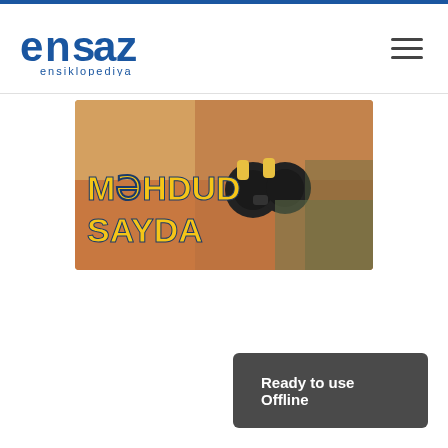[Figure (logo): ensaz enklopediya logo - blue text with stylized letters]
[Figure (photo): Banner image showing a child looking through binoculars with text 'MƏHDUD SAYDA' in yellow and blue bold letters on a warm-toned background]
Ready to use Offline